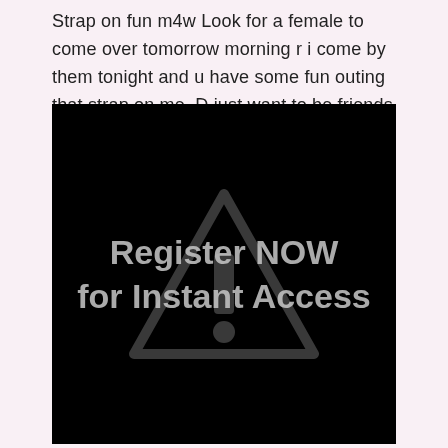Strap on fun m4w Look for a female to come over tomorrow morning r i come by them tonight and u have some fun outing that strap on me. D just want to be friends with a girl.
[Figure (other): Black image with a faint warning/alert triangle icon in the center and white bold text reading 'Register NOW for Instant Access']